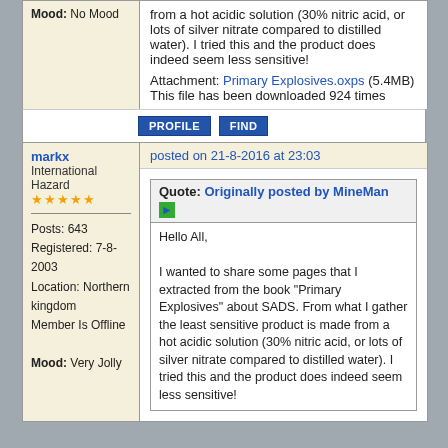Mood: No Mood
from a hot acidic solution (30% nitric acid, or lots of silver nitrate compared to distilled water). I tried this and the product does indeed seem less sensitive!
Attachment: Primary Explosives.oxps (5.4MB)
This file has been downloaded 924 times
PROFILE   FIND
markx
International Hazard
★★★★★
posted on 21-8-2016 at 23:03
Posts: 643
Registered: 7-8-2003
Location: Northern kingdom
Member Is Offline
Mood: Very Jolly
Quote: Originally posted by MineMan
Hello All,
I wanted to share some pages that I extracted from the book "Primary Explosives" about SADS. From what I gather the least sensitive product is made from a hot acidic solution (30% nitric acid, or lots of silver nitrate compared to distilled water). I tried this and the product does indeed seem less sensitive!